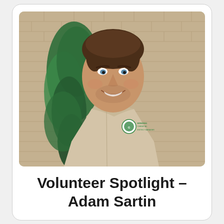[Figure (photo): Headshot of a young man smiling, wearing a beige/khaki button-up work shirt with a green company logo patch on the chest, standing in front of a brick wall with a green shrub/tree beside him.]
Volunteer Spotlight – Adam Sartin